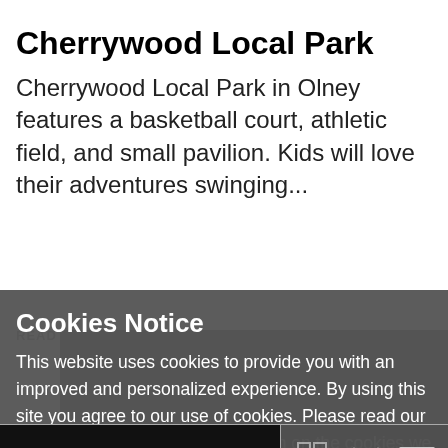Cherrywood Local Park
Cherrywood Local Park in Olney features a basketball court, athletic field, and small pavilion. Kids will love their adventures swinging...
READ MORE
Cookies Notice
This website uses cookies to provide you with an improved and personalized experience. By using this site you agree to our use of cookies. Please read our cookies policy for more information on the cookies we use and how to delete or block them.
I ACCEPT